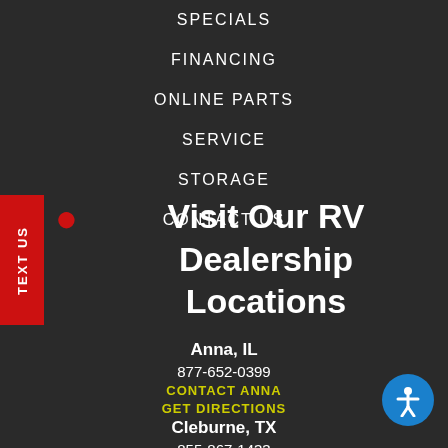SPECIALS
FINANCING
ONLINE PARTS
SERVICE
STORAGE
CONTACT US
Visit Our RV Dealership Locations
Anna, IL
877-652-0399
CONTACT ANNA
GET DIRECTIONS
Cleburne, TX
855-867-1433
CONTACT CLEBURNE